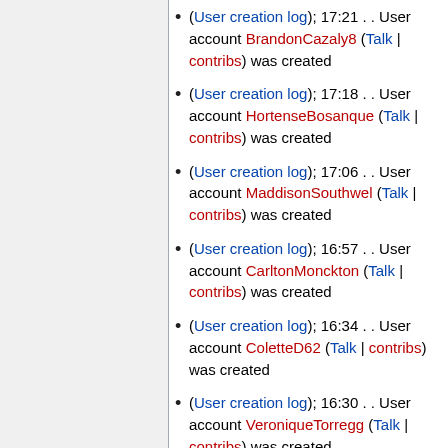(User creation log); 17:21 . . User account BrandonCazaly8 (Talk | contribs) was created
(User creation log); 17:18 . . User account HortenseBosanque (Talk | contribs) was created
(User creation log); 17:06 . . User account MaddisonSouthwel (Talk | contribs) was created
(User creation log); 16:57 . . User account CarltonMonckton (Talk | contribs) was created
(User creation log); 16:34 . . User account ColetteD62 (Talk | contribs) was created
(User creation log); 16:30 . . User account VeroniqueTorregg (Talk | contribs) was created
(User creation log); 16:15 . . User account TeganZick710988 (Talk | contribs) was created
(User creation log); 16:15 . . User account KathiStockwell3 (Talk |